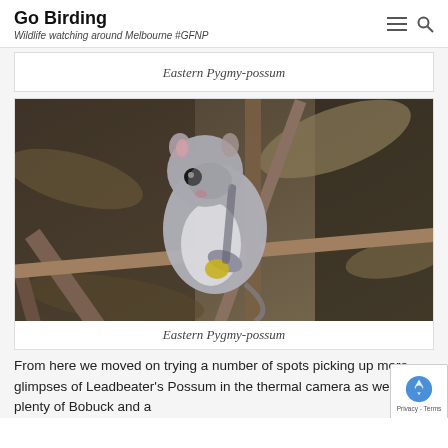Go Birding — Wildlife watching around Melbourne #GFNP
Eastern Pygmy-possum
[Figure (photo): Close-up photograph of an Eastern Pygmy-possum perched on thin branches among dry leaves. The small marsupial has grey fur on its back, white/cream on its belly, large dark eyes, and small pink ears.]
Eastern Pygmy-possum
From here we moved on trying a number of spots picking up mere glimpses of Leadbeater's Possum in the thermal camera as well as plenty of Bobuck and a